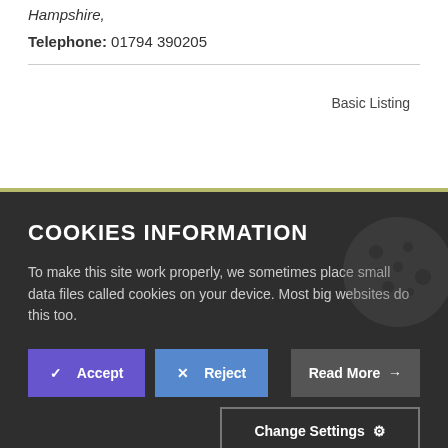Hampshire,
Telephone: 01794 390205
Basic Listing
COOKIES INFORMATION
To make this site work properly, we sometimes place small data files called cookies on your device. Most big websites do this too.
✓ Accept
✗ Reject
Read More →
Change Settings ⚙